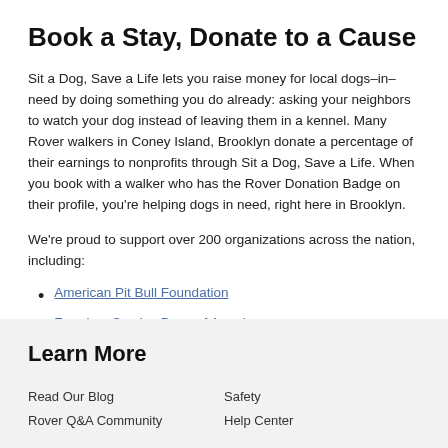Book a Stay, Donate to a Cause
Sit a Dog, Save a Life lets you raise money for local dogs–in–need by doing something you do already: asking your neighbors to watch your dog instead of leaving them in a kennel. Many Rover walkers in Coney Island, Brooklyn donate a percentage of their earnings to nonprofits through Sit a Dog, Save a Life. When you book with a walker who has the Rover Donation Badge on their profile, you're helping dogs in need, right here in Brooklyn.
We're proud to support over 200 organizations across the nation, including:
American Pit Bull Foundation
Freedom Service Dogs of America
PAWS
Learn More
Read Our Blog
Rover Q&A Community
Safety
Help Center